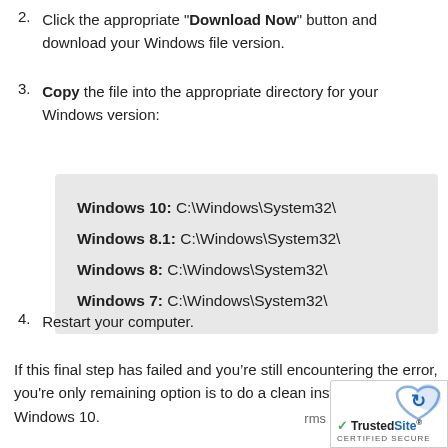2. Click the appropriate "Download Now" button and download your Windows file version.
3. Copy the file into the appropriate directory for your Windows version:
Windows 10: C:\Windows\System32\
Windows 8.1: C:\Windows\System32\
Windows 8: C:\Windows\System32\
Windows 7: C:\Windows\System32\
4. Restart your computer.
If this final step has failed and you’re still encountering the error, you're only remaining option is to do a clean installation of Windows 10.
[Figure (logo): TrustedSite Certified Secure badge with reCAPTCHA icon]